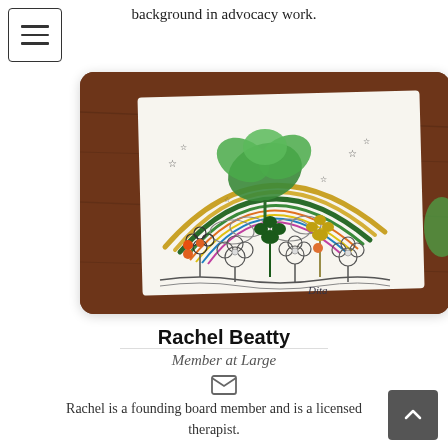background in advocacy work.
[Figure (photo): A hand-drawn and decorated artwork on white paper showing a rainbow, shamrocks/clovers, flowers, stars, and the name 'Dita' written in the corner. The artwork has 3D elements including a large green felt clover and metallic pipe cleaners forming the rainbow arc, placed on a wooden table surface.]
Rachel Beatty
Member at Large
Rachel is a founding board member and is a licensed therapist.